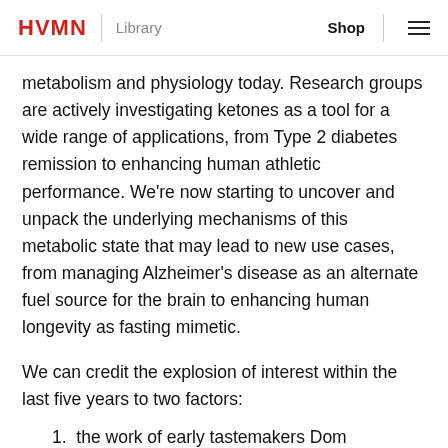HVMN | Library    Shop  ☰
metabolism and physiology today. Research groups are actively investigating ketones as a tool for a wide range of applications, from Type 2 diabetes remission to enhancing human athletic performance. We're now starting to uncover and unpack the underlying mechanisms of this metabolic state that may lead to new use cases, from managing Alzheimer's disease as an alternate fuel source for the brain to enhancing human longevity as fasting mimetic.
We can credit the explosion of interest within the last five years to two factors:
1. the work of early tastemakers Dom D'Agostino, Ben Greenfield, Peter Attia, Tim Ferriss, and Joe Rogan